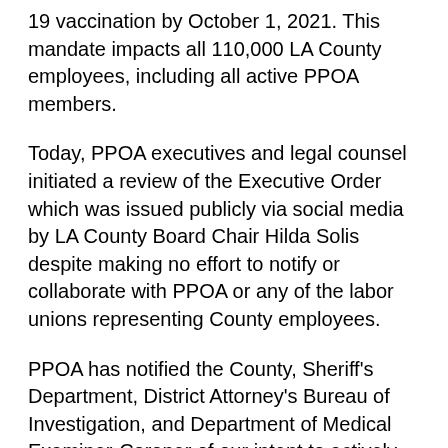19 vaccination by October 1, 2021. This mandate impacts all 110,000 LA County employees, including all active PPOA members.
Today, PPOA executives and legal counsel initiated a review of the Executive Order which was issued publicly via social media by LA County Board Chair Hilda Solis despite making no effort to notify or collaborate with PPOA or any of the labor unions representing County employees.
PPOA has notified the County, Sheriff's Department, District Attorney's Bureau of Investigation, and Department of Medical Examiner-Coroner of our intent to actively and aggressively assert our bargaining rights to negotiate over the decision of this Executive